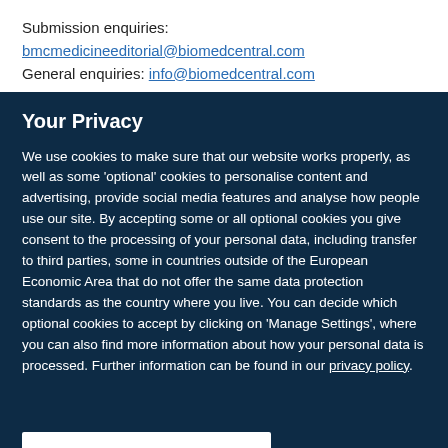Submission enquiries:
bmcmedicineeditorial@biomedcentral.com
General enquiries: info@biomedcentral.com
Your Privacy
We use cookies to make sure that our website works properly, as well as some 'optional' cookies to personalise content and advertising, provide social media features and analyse how people use our site. By accepting some or all optional cookies you give consent to the processing of your personal data, including transfer to third parties, some in countries outside of the European Economic Area that do not offer the same data protection standards as the country where you live. You can decide which optional cookies to accept by clicking on 'Manage Settings', where you can also find more information about how your personal data is processed. Further information can be found in our privacy policy.
Accept all cookies
Manage preferences